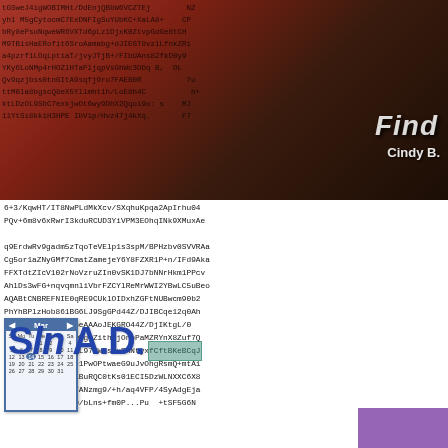[Figure (photo): Portrait photo of a person with orange/red hair, overlaid with dense base64/encoded text strings in monospace font. Partial text overlay includes 'Find' and 'Cindy B.' visible over the image.]
6+3/KqwHT/IT8NwPLdMkXcv/SXqhuKpqa2ApIrhu04
PQv+6m8v6xRwrI3kduRCUD3YiVPM3EOhqINk9XMuxA
then followed AD, and saw how Silicon and 14 dead
q9ErdwRv9gadm5zTqoTeVElp1s3spM/BPHzbv0SVVRa
Cg5or1aZNyGMf7CmatZamejeY6Y8FZXR1P+n/IFd9Ak
FFXTdtZIcV102rNoVzruZIn0vSK1DJ7bNNrHkm1PPc
AhlDs3wFG+nqvqmnliVbrFZCYlReMrWWI2YBwLC5uBe
AQABtCNBREFNIE0qRE9CUklOIDxhZGFtNUBwcm90b2
PhYhBPlzHob861BG6LJ9SgGPd44Z/DJIBCqe12q0Ah
OgLAgQWAgLAh4BAheAAAoJEKGRO44Z/DjIKtgL/0
tH3sdTZBoXGK1puwhgOZith6jOnpPaMZRYnX8Zuf7Q
7/BxPSHJWBur6ZYML97OWSstuBhNtyxfCftBKeBCqJ
O8nTE7nXHSOdyen+1PwOPtwaeG9uJvOhgRsmQ+mtAi
vJBtzq9qP9+EZSuiBuRQC0tKs01ECI5DzWLNXXC6X8
ALd+HmVYpwijLPi7ANzmg9/+h/aq4VFP/4SyAdgEja
W3jbZPn19o2hWTt0/bLns+fmoP...Pur +tSF5G6N
[Figure (other): Calendar widget showing day 14 highlighted in blue, overlaid with large bold dark blue text reading 'Sln A.D.']
[Figure (other): Green highlighted box overlay on text, and purple overlay in bottom-right corner]